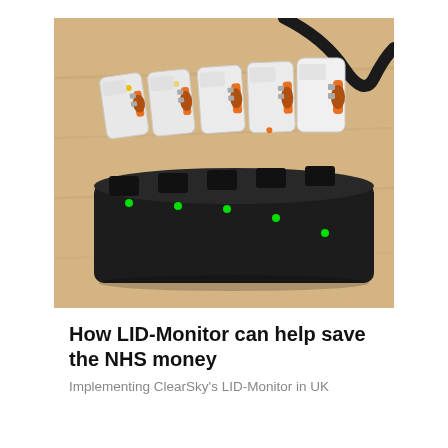[Figure (photo): Five white LID-Monitor devices with orange sensors and indicator lights, seated in a black multi-slot charging dock on a wooden surface, with a black cable running off the top right.]
How LID-Monitor can help save the NHS money
Implementing ClearSky's LID-Monitor in UK